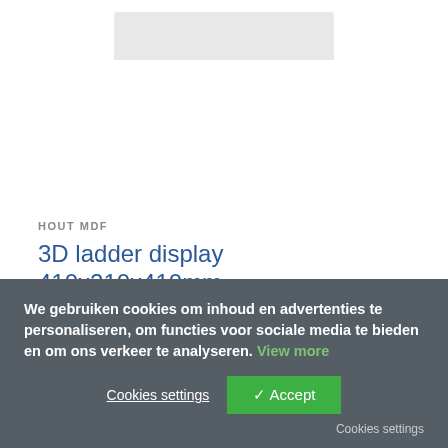[Figure (photo): Partial view of product image at top of page (3D ladder display)]
HOUT MDF
3D ladder display 410x210x410mm
€12.90
LEES MEER
We gebruiken cookies om inhoud en advertenties te personaliseren, om functies voor sociale media te bieden en om ons verkeer te analyseren. View more
Cookies settings
✓ Accept
Cookies settings